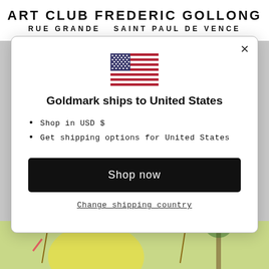ART CLUB FREDERIC GOLLONG
RUE GRANDE SAINT PAUL DE VENCE
[Figure (screenshot): Modal dialog with US flag, heading 'Goldmark ships to United States', bullet points, Shop now button, and Change shipping country link]
Goldmark ships to United States
Shop in USD $
Get shipping options for United States
Shop now
Change shipping country
[Figure (illustration): Colorful hand-drawn artwork visible at the bottom of the page showing figures with a yellow/green background]